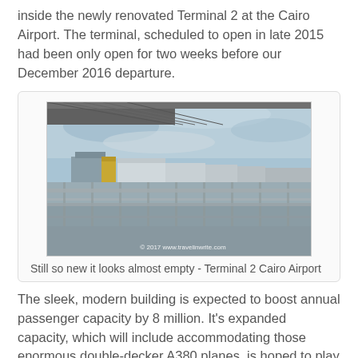inside the newly renovated Terminal 2 at the Cairo Airport. The terminal, scheduled to open in late 2015 had been only open for two weeks before our December 2016 departure.
[Figure (photo): View from inside Cairo Airport Terminal 2, showing the tarmac and airport apron through a window with metal railings/balcony in the foreground, and airport terminal buildings visible in the background under a partly cloudy sky. Watermark reads: © 2017 www.travelinwrite.com]
Still so new it looks almost empty - Terminal 2 Cairo Airport
The sleek, modern building is expected to boost annual passenger capacity by 8 million. It's expanded capacity, which will include accommodating those enormous double-decker A380 planes, is hoped to play a role in luring travelers back to Egypt. In articles about the new terminal tourism